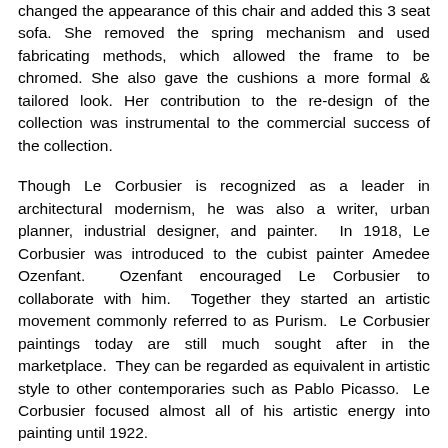changed the appearance of this chair and added this 3 seat sofa. She removed the spring mechanism and used fabricating methods, which allowed the frame to be chromed. She also gave the cushions a more formal & tailored look. Her contribution to the re-design of the collection was instrumental to the commercial success of the collection.
Though Le Corbusier is recognized as a leader in architectural modernism, he was also a writer, urban planner, industrial designer, and painter. In 1918, Le Corbusier was introduced to the cubist painter Amedee Ozenfant. Ozenfant encouraged Le Corbusier to collaborate with him. Together they started an artistic movement commonly referred to as Purism. Le Corbusier paintings today are still much sought after in the marketplace. They can be regarded as equivalent in artistic style to other contemporaries such as Pablo Picasso. Le Corbusier focused almost all of his artistic energy into painting until 1922.
Made in Italy.
Dimensions: H 24 1/2"   D 28 3/4"   W 94 1/2"; SH 14 1/4"